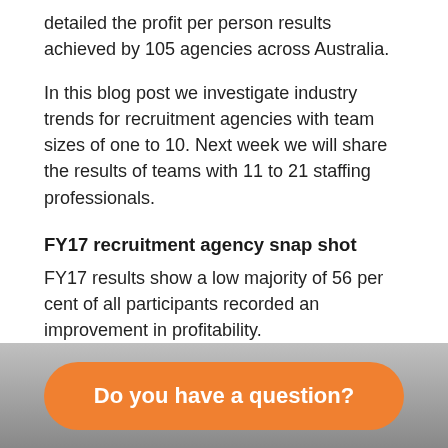detailed the profit per person results achieved by 105 agencies across Australia.
In this blog post we investigate industry trends for recruitment agencies with team sizes of one to 10. Next week we will share the results of teams with 11 to 21 staffing professionals.
FY17 recruitment agency snap shot
FY17 results show a low majority of 56 per cent of all participants recorded an improvement in profitability.
The metric calculation is profit before tax or EBIT (FY17) divided by the average FTE headcount (FY17). So, for example, $250K profit with an average
Do you have a question?